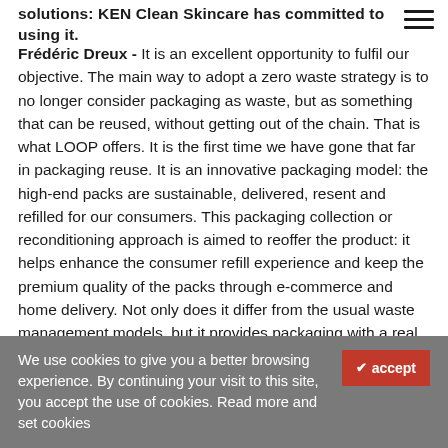solutions: KEN Clean Skincare has committed to using it.
Frédéric Dreux - It is an excellent opportunity to fulfil our objective. The main way to adopt a zero waste strategy is to no longer consider packaging as waste, but as something that can be reused, without getting out of the chain. That is what LOOP offers. It is the first time we have gone that far in packaging reuse. It is an innovative packaging model: the high-end packs are sustainable, delivered, resent and refilled for our consumers. This packaging collection or reconditioning approach is aimed to reoffer the product: it helps enhance the consumer refill experience and keep the premium quality of the packs through e-commerce and home delivery. Not only does it differ from the usual waste management models, but it provides packaging with a real functionality over time. It is no
We use cookies to give you a better browsing experience. By continuing your visit to this site, you accept the use of cookies. Read more and set cookies